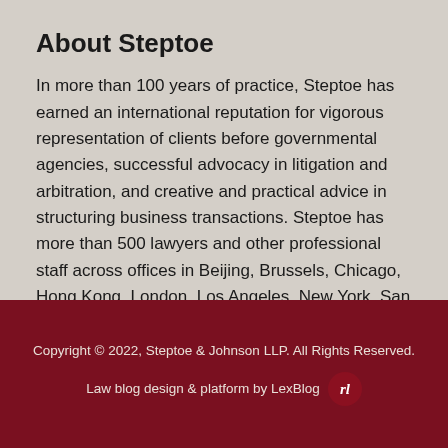About Steptoe
In more than 100 years of practice, Steptoe has earned an international reputation for vigorous representation of clients before governmental agencies, successful advocacy in litigation and arbitration, and creative and practical advice in structuring business transactions. Steptoe has more than 500 lawyers and other professional staff across offices in Beijing, Brussels, Chicago, Hong Kong, London, Los Angeles, New York, San Francisco, and Washington. For more information, visit www.steptoe.com.
Copyright © 2022, Steptoe & Johnson LLP. All Rights Reserved. Law blog design & platform by LexBlog